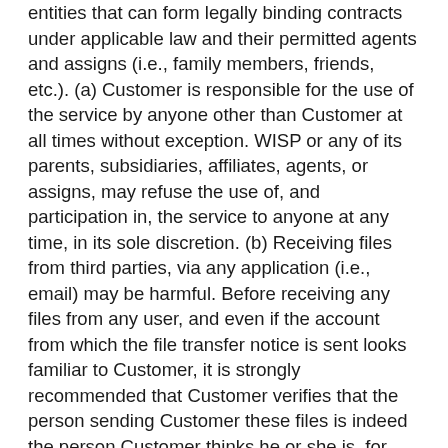entities that can form legally binding contracts under applicable law and their permitted agents and assigns (i.e., family members, friends, etc.). (a) Customer is responsible for the use of the service by anyone other than Customer at all times without exception. WISP or any of its parents, subsidiaries, affiliates, agents, or assigns, may refuse the use of, and participation in, the service to anyone at any time, in its sole discretion. (b) Receiving files from third parties, via any application (i.e., email) may be harmful. Before receiving any files from any user, and even if the account from which the file transfer notice is sent looks familiar to Customer, it is strongly recommended that Customer verifies that the person sending Customer these files is indeed the person Customer thinks he or she is, for example by asking for some kind of information known only to the Customer and such other person. Please make sure not to receive files from users Customer does not trust, from users Customer is not sure they are